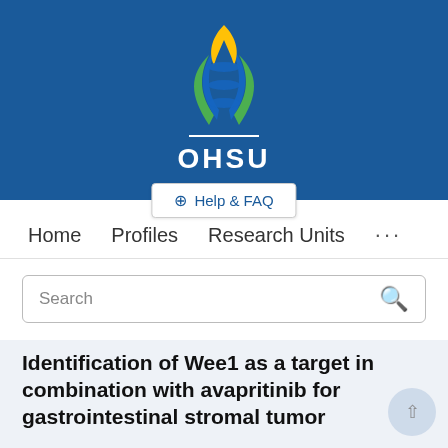[Figure (logo): OHSU (Oregon Health & Science University) logo with DNA helix and flame design on blue background, with white OHSU text]
Help & FAQ
Home   Profiles   Research Units   ...
Search
Identification of Wee1 as a target in combination with avapritinib for gastrointestinal stromal tumor